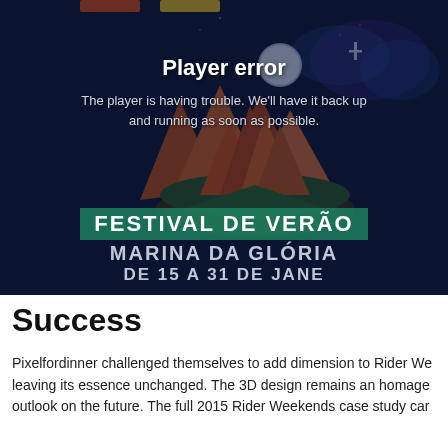[Figure (screenshot): Video player showing a 3D mountain/island scene with a Brazilian summer festival promotional image. An error overlay reads 'Player error' and 'The player is having trouble. We'll have it back up and running as soon as possible.' Festival text at the bottom reads 'FESTIVAL DE VERÃO / MARINA DA GLÓRIA / DE 15 A 31 DE JANE']
Success
Pixelfordinner challenged themselves to add dimension to Rider We leaving its essence unchanged. The 3D design remains an homage outlook on the future. The full 2015 Rider Weekends case study car